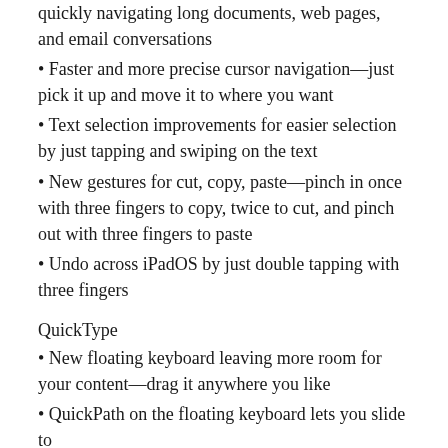quickly navigating long documents, web pages, and email conversations
Faster and more precise cursor navigation—just pick it up and move it to where you want
Text selection improvements for easier selection by just tapping and swiping on the text
New gestures for cut, copy, paste—pinch in once with three fingers to copy, twice to cut, and pinch out with three fingers to paste
Undo across iPadOS by just double tapping with three fingers
QuickType
New floating keyboard leaving more room for your content—drag it anywhere you like
QuickPath on the floating keyboard lets you slide to